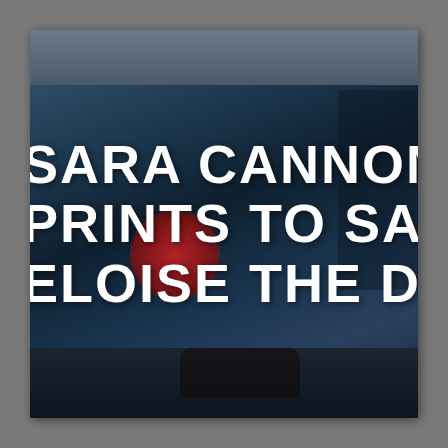[Figure (photo): A blurry photograph of an art print displayed on a surface, with large bold white text overlaid reading 'SARA CANNON ART PRINTS TO SAVE ELOISE THE DOG!' The background shows a dark teal/blue artwork with a red splash element. The photo is set against a gray background with the print centered in frame.]